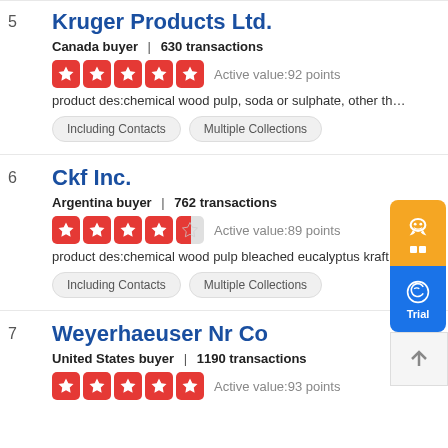5 Kruger Products Ltd. — Canada buyer | 630 transactions — Active value:92 points — product des:chemical wood pulp, soda or sulphate, other than dissolvi...
6 Ckf Inc. — Argentina buyer | 762 transactions — Active value:89 points — product des:chemical wood pulp bleached eucalyptus kraft pu...
7 Weyerhaeuser Nr Co — United States buyer | 1190 transactions — Active value:93 points